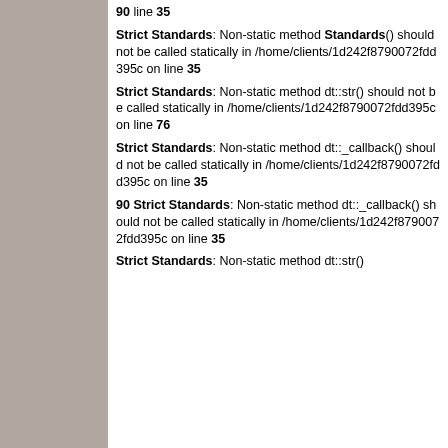90 on line 35
Strict Standards: Non-static method Standards() should not be called statically in /home/clients/1d242f8790072fdd395c on line 35
Strict Standards: Non-static method dt::str() should not be called statically in /home/clients/1d242f8790072fdd395c on line 76
Strict Standards: Non-static method dt::_callback() should not be called statically in /home/clients/1d242f8790072fdd395c on line 35
90 Strict Standards: Non-static method dt::_callback() should not be called statically in /home/clients/1d242f8790072fdd395c on line 35
Strict Standards: Non-static method dt::str()